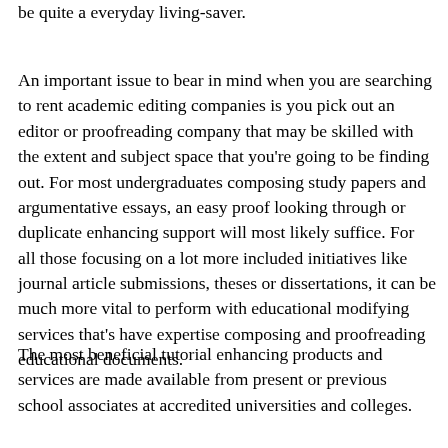be quite a everyday living-saver.
An important issue to bear in mind when you are searching to rent academic editing companies is you pick out an editor or proofreading company that may be skilled with the extent and subject space that you're going to be finding out. For most undergraduates composing study papers and argumentative essays, an easy proof looking through or duplicate enhancing support will most likely suffice. For all those focusing on a lot more included initiatives like journal article submissions, theses or dissertations, it can be much more vital to perform with educational modifying services that's have expertise composing and proofreading educational documents.
The most beneficial tutorial enhancing products and services are made available from present or previous school associates at accredited universities and colleges.